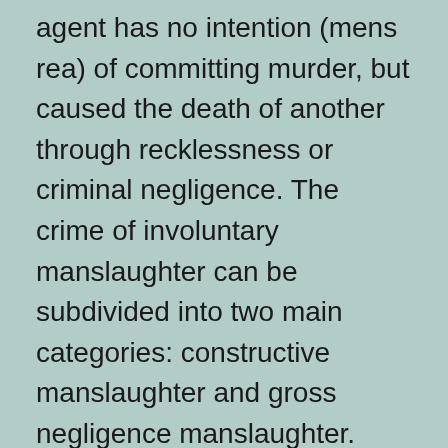agent has no intention (mens rea) of committing murder, but caused the death of another through recklessness or criminal negligence. The crime of involuntary manslaughter can be subdivided into two main categories: constructive manslaughter and gross negligence manslaughter.
United States
Manslaughter is a crime in the United States. Definitions can vary among jurisdictions, but the U.S. follows the general principle that it involves causing the death of another person